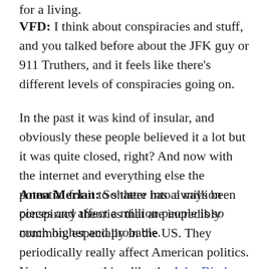for a living.
VFD: I think about conspiracies and stuff, and you talked before about the JFK guy or 911 Truthers, and it feels like there's different levels of conspiracies going on.
In the past it was kind of insular, and obviously these people believed it a lot but it was quite closed, right? And now with the internet and everything else the potential for it to shatter into a million pieces and affect a million people is so much higher and probable.
Anna Merlan: So there has always been conspiracy theories that are incredibly common, especially in the US. They periodically really affect American politics. You have something like the John Birch Society in the 1960s, which was a group who were convinced that